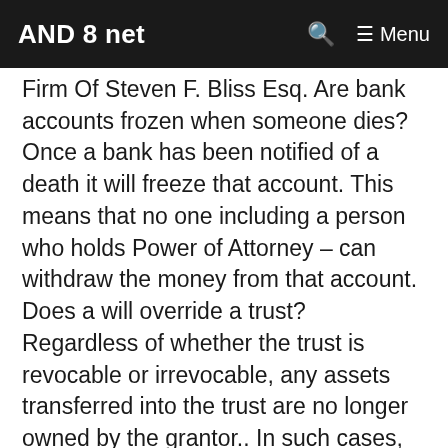AND 8 net  🔍  ☰ Menu
Firm Of Steven F. Bliss Esq. Are bank accounts frozen when someone dies? Once a bank has been notified of a death it will freeze that account. This means that no one including a person who holds Power of Attorney – can withdraw the money from that account. Does a will override a trust? Regardless of whether the trust is revocable or irrevocable, any assets transferred into the trust are no longer owned by the grantor.. In such cases, the terms of your trust will supersede the terms of your will, because your will can only affect the assets you owned at the time of your death. What type of will Cannot be contested? A revocable living trust allows you to place all of your assets into a trust